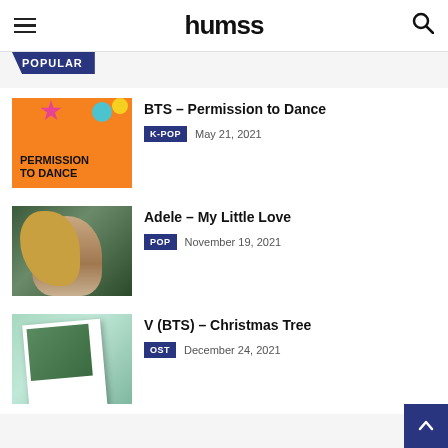humss
POPULAR
[Figure (illustration): BTS Permission to Dance album art — orange background with colorful shapes and 'PERMISSION TO DANCE' text]
BTS – Permission to Dance
K-POP  May 21, 2021
[Figure (photo): Adele profile photo — side view of woman with blonde hair against dark green background]
Adele – My Little Love
POP  November 19, 2021
[Figure (photo): V (BTS) Christmas Tree — polaroid photo on light green background showing two figures outdoors]
V (BTS) – Christmas Tree
OST  December 24, 2021